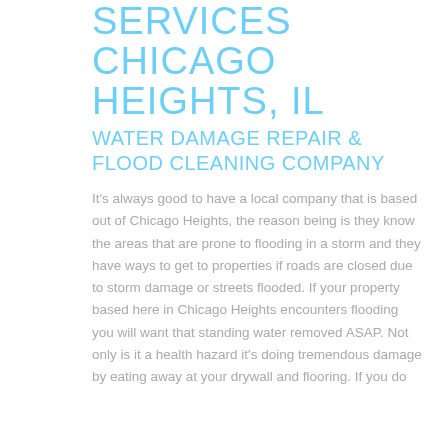SERVICES CHICAGO HEIGHTS, IL WATER DAMAGE REPAIR & FLOOD CLEANING COMPANY
It's always good to have a local company that is based out of Chicago Heights, the reason being is they know the areas that are prone to flooding in a storm and they have ways to get to properties if roads are closed due to storm damage or streets flooded. If your property based here in Chicago Heights encounters flooding you will want that standing water removed ASAP. Not only is it a health hazard it's doing tremendous damage by eating away at your drywall and flooring. If you do